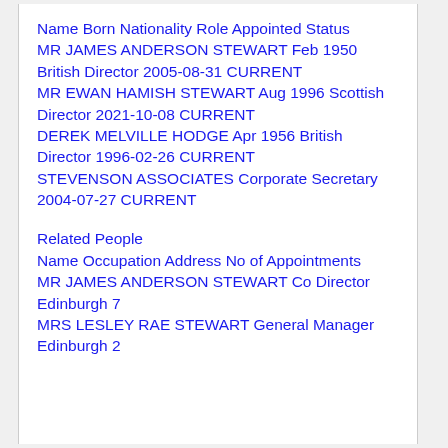| Name | Born | Nationality | Role | Appointed | Status |
| --- | --- | --- | --- | --- | --- |
| MR JAMES ANDERSON STEWART | Feb 1950 | British | Director | 2005-08-31 | CURRENT |
| MR EWAN HAMISH STEWART | Aug 1996 | Scottish | Director | 2021-10-08 | CURRENT |
| DEREK MELVILLE HODGE | Apr 1956 | British | Director | 1996-02-26 | CURRENT |
| STEVENSON ASSOCIATES |  |  | Corporate Secretary | 2004-07-27 | CURRENT |
Related People
| Name | Occupation | Address | No of Appointments |
| --- | --- | --- | --- |
| MR JAMES ANDERSON STEWART | Co Director | Edinburgh | 7 |
| MRS LESLEY RAE STEWART | General Manager | Edinburgh | 2 |